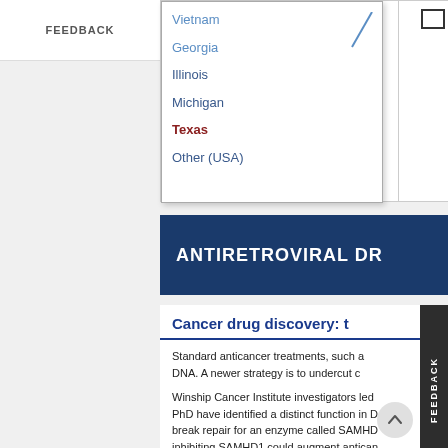FEEDBACK
Vietnam
Georgia
Illinois
Michigan
Texas
Other (USA)
ANTIRETROVIRAL DR
Cancer drug discovery: t
Standard anticancer treatments, such as DNA. A newer strategy is to undercut c
Winship Cancer Institute investigators led PhD have identified a distinct function in D break repair for an enzyme called SAMHD inhibiting SAMHD1 could augment antican induce DNA double-strand breaks, such as or PARP inhibitor drugs, they suggest.